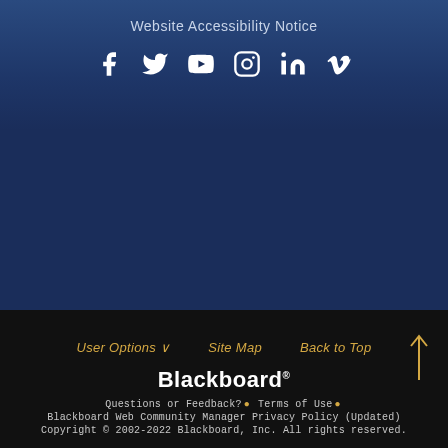Website Accessibility Notice
[Figure (illustration): Social media icons: Facebook, Twitter, YouTube, Instagram, LinkedIn, Vimeo — white icons on blue background]
User Options ∨   Site Map   Back to Top ↑
Blackboard®
Questions or Feedback? . Terms of Use . Blackboard Web Community Manager Privacy Policy (Updated) Copyright © 2002-2022 Blackboard, Inc. All rights reserved.